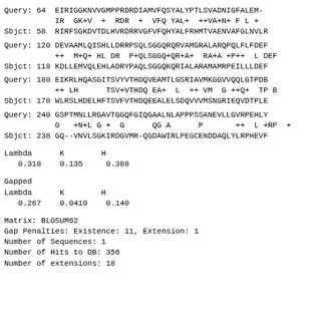Query: 64  EIRIGGKNVVGMPPRDRDIAMVFQSYALYPTLSVADNIGFALEM-
            IR  GK+V  +  RDR  +  VFQ YAL+  ++VA+N+ F L +
Sbjct: 58  RIRFSGKDVTDLHVRDRRVGFVFQHYALFRHMTVAENVAFGLNVLR
Query: 120 DEVAAMLQISHLLDRRPSQLSGGQRQRVAMGRALARQPQLFLFDEP
            ++  M+Q+ HL DR  P+QLSGGQ+QR+A+  RA+A +P++  L DEP
Sbjct: 118 KDLLEMVQLEHLADRYPAQLSGGQKQRIALARAMAMRPEILLLDEF
Query: 180 EIKRLHQASGITSVYVTHDQVEAMTLGSRIAVMKGGVVQQLGTPDB
            ++ LH      TSV+VTHDQ EA+  L  ++ VM  G ++Q+  TP B
Sbjct: 178 WLRSLHDELHFTSVFVTHDQEEALELSDQVVVMSNGRIEQVDTPLE
Query: 240 GSPTMNLLRGAVTGGQFGIQGAALNLAPPPSSANEVLLGVRPEHLY
            G   +N+L G +  G      QG A      P       ++  L +RP  +
Sbjct: 238 GQ--VNVLSGKIRDGVMR-QGDAWIRLPEGCENDDAQLYLRPHEVF
Lambda      K        H
   0.318    0.135     0.388
Gapped
Lambda      K        H
   0.267    0.0410    0.140
Matrix: BLOSUM62
Gap Penalties: Existence: 11, Extension: 1
Number of Sequences: 1
Number of Hits to DB: 356
Number of extensions: 18